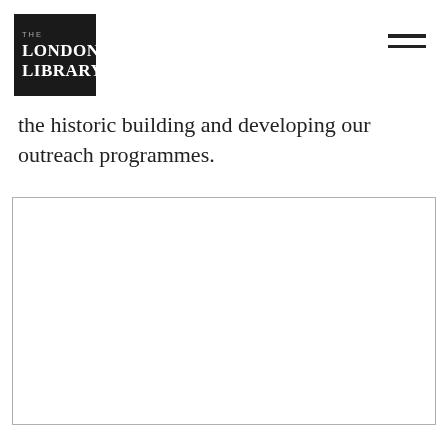THE LONDON LIBRARY
the historic building and developing our outreach programmes.
[Figure (photo): Large rectangular image placeholder with light grey border, content not visible]